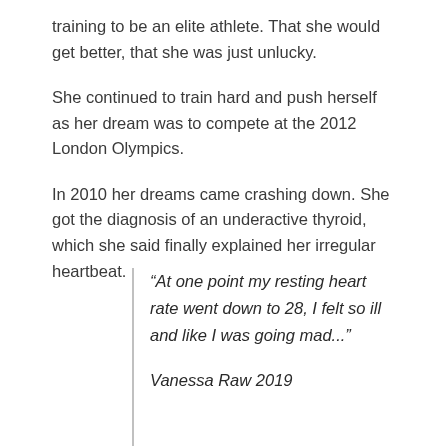training to be an elite athlete. That she would get better, that she was just unlucky.
She continued to train hard and push herself as her dream was to compete at the 2012 London Olympics.
In 2010 her dreams came crashing down. She got the diagnosis of an underactive thyroid, which she said finally explained her irregular heartbeat.
“At one point my resting heart rate went down to 28, I felt so ill and like I was going mad...”
Vanessa Raw 2019